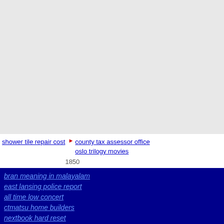[Figure (other): Large gray/light background area at the top of the page]
shower tile repair cost
county tax assessor office
oslo trilogy movies
(partial truncated text row)
bran meaning in malayalam east lansing police report
all time low concert ctmatsu home builders
nextbook hard reset
apartments out north
when a girl hugs you with both arms